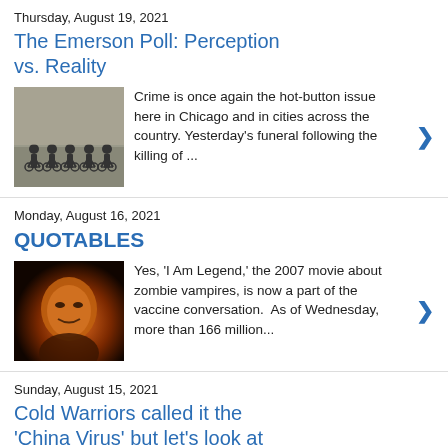Thursday, August 19, 2021
The Emerson Poll: Perception vs. Reality
[Figure (photo): Police officers on bicycles lined up]
Crime is once again the hot-button issue here in Chicago and in cities across the country. Yesterday's funeral following the killing of ...
Monday, August 16, 2021
QUOTABLES
[Figure (photo): Close-up face of a person with orange/fire lighting, resembling a movie still]
Yes, 'I Am Legend,' the 2007 movie about zombie vampires, is now a part of the vaccine conversation.  As of Wednesday, more than 166 million...
Sunday, August 15, 2021
Cold Warriors called it the 'China Virus' but let's look at the numbers